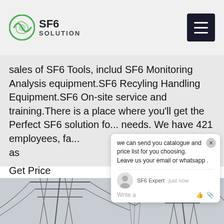SF6 SOLUTION
sales of SF6 Tools, includ SF6 Monitoring Analysis equipment.SF6 Recyling Handling Equipment.SF6 On-site service and training.There is a place where you'll get the Perfect SF6 solution fo... needs. We have 421 employees, fa... as
Get Price
[Figure (screenshot): Chat popup overlay with message: we can send you catalogue and price list for you choosing. Leave us your email or whatsapp. SF6 Expert - just now. Write a [thumbs up] [paperclip]]
[Figure (photo): Black and white photo of high-voltage electrical transmission towers/pylons against a light sky]